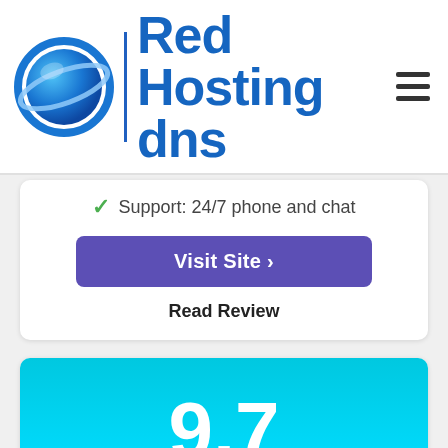Red Hosting dns
Support: 24/7 phone and chat
Visit Site >
Read Review
[Figure (infographic): Score badge showing 9.7 rating in cyan/light blue gradient background]
[Figure (logo): TMD Hosting logo with pentagon badge shape and text 'Hosting THE MOST DEDICATED']